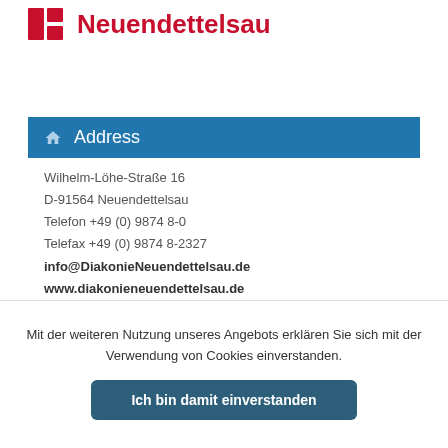[Figure (logo): Diakonisches Werk Neuendettelsau logo with red bars icon and red text 'Neuendettelsau']
Address
Wilhelm-Löhe-Straße 16
D-91564 Neuendettelsau
Telefon +49 (0) 9874 8-0
Telefax +49 (0) 9874 8-2327
info@DiakonieNeuendettelsau.de
www.diakonieneuendettelsau.de
Mit der weiteren Nutzung unseres Angebots erklären Sie sich mit der Verwendung von Cookies einverstanden.
Ich bin damit einverstanden